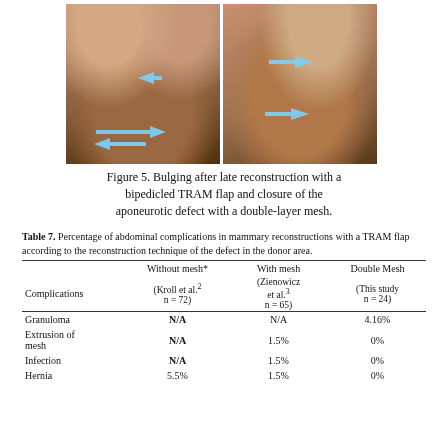[Figure (photo): Two clinical photos side by side showing abdominal bulging after late breast reconstruction with a bipedicled TRAM flap. Blue arrows indicate bulging areas. Left photo shows frontal view, right photo shows lateral view.]
Figure 5. Bulging after late reconstruction with a bipedicled TRAM flap and closure of the aponeurotic defect with a double-layer mesh.
| Complications | Without mesh* (Kroll et al.² n = 72) | With mesh (Zienowicz et al.³ n = 65) | Double Mesh (This study n = 24) |
| --- | --- | --- | --- |
| Granuloma | N/A | N/A | 4.16% |
| Extrusion of mesh | N/A | 1.5% | 0% |
| Infection | N/A | 1.5% | 0% |
| Hernia | 5.5% | 1.5% | 0% |